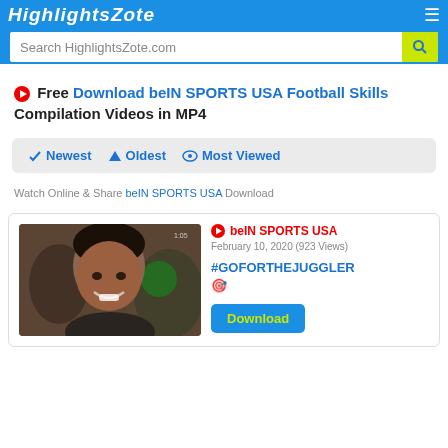HighlightsZote - Search HighlightsZote.com
Free Download beIN SPORTS USA Football Skills Compilation Videos in MP4
Newest   Oldest   Most Viewed
Watch Online & Share beIN SPORTS USA Download
[Figure (photo): Thumbnail of a smiling young man in a dark jacket, indoor background]
beIN SPORTS USA
February 10, 2020 (923 Views)
#GOFORTHEJUGGLER 🎯
Download